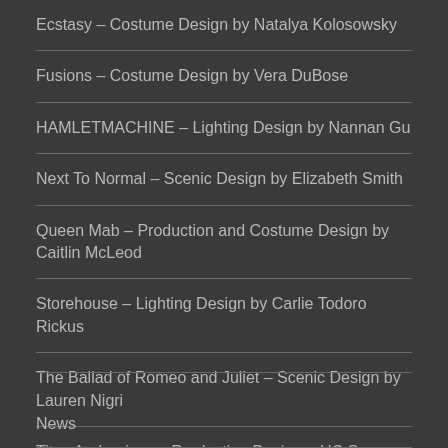Ecstasy – Costume Design by Natalya Kolosowsky
Fusions – Costume Design by Vera DuBose
HAMLETMACHINE – Lighting Design by Nannan Gu
Next To Normal – Scenic Design by Elizabeth Smith
Queen Mab – Production and Costume Design by Caitlin McLeod
Storehouse – Lighting Design by Carlie Todoro Rickus
The Ballad of Romeo and Juliet – Scenic Design by Lauren Nigri
Titus Andronicus – Production Design – UC San Diego
News